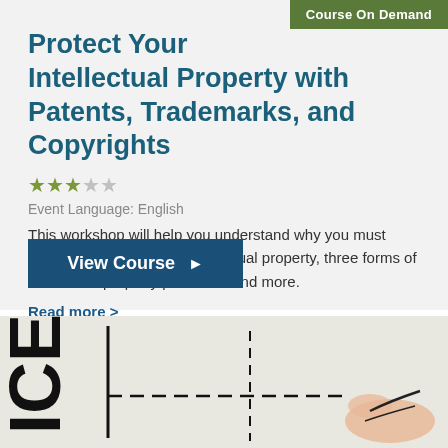Course On Demand
Protect Your Intellectual Property with Patents, Trademarks, and Copyrights
★★★☆☆
Event Language: English
This workshop will help you understand why you must protect your company's intellectual property, three forms of intellectual property protection and more.
Read more >
View Course ▶
[Figure (photo): Partial photo of a person writing or signing, with large rotated letters visible on the left side of the image.]